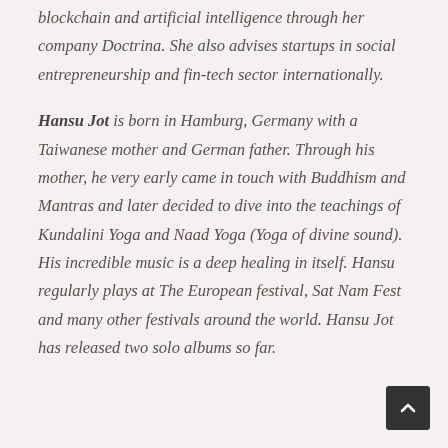blockchain and artificial intelligence through her company Doctrina. She also advises startups in social entrepreneurship and fin-tech sector internationally.
Hansu Jot is born in Hamburg, Germany with a Taiwanese mother and German father. Through his mother, he very early came in touch with Buddhism and Mantras and later decided to dive into the teachings of Kundalini Yoga and Naad Yoga (Yoga of divine sound).
His incredible music is a deep healing in itself. Hansu regularly plays at The European festival, Sat Nam Fest and many other festivals around the world. Hansu Jot has released two solo albums so far.